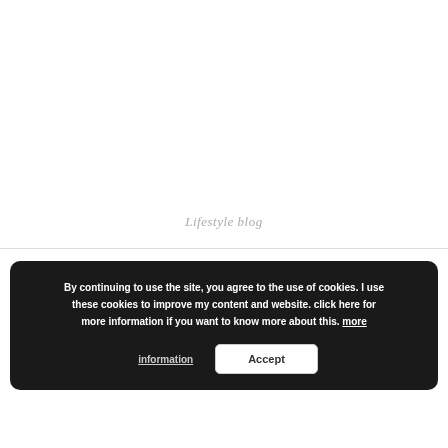Lifestyle blog
By continuing to use the site, you agree to the use of cookies. I use these cookies to improve my content and website. click here for more information if you want to know more about this. more information Accept
January 4, 2021
Death to 2020 | Review
by thewandrowntipp... in MOVIES